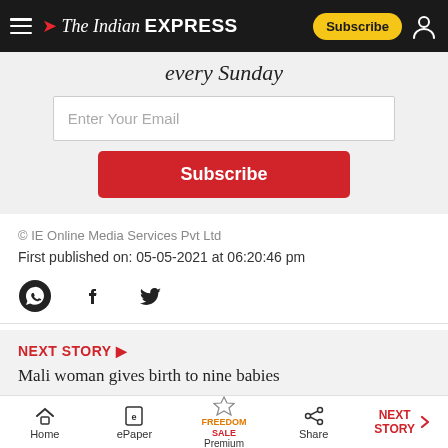The Indian Express — Subscribe / User
every Sunday
Enter Your Email
Subscribe
© IE Online Media Services Pvt Ltd
First published on: 05-05-2021 at 06:20:46 pm
[Figure (other): Social share icons: WhatsApp, Facebook, Twitter]
NEXT STORY ▶
Mali woman gives birth to nine babies
Home | ePaper | Premium (FREEDOM SALE) | Share | NEXT STORY